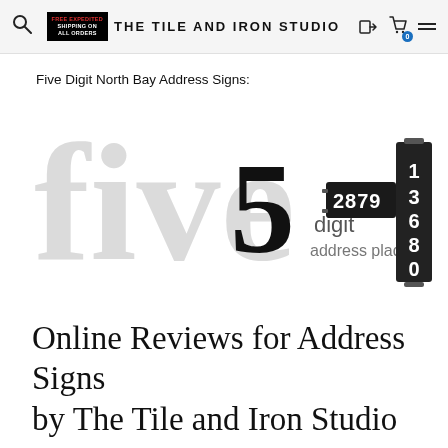FREE EXPEDITED SHIPPING ON ALL ORDERS  THE TILE AND IRON STUDIO
Five Digit North Bay Address Signs:
[Figure (illustration): Promotional banner image for five digit address plaques. Large light-gray serif text reading 'five' in background watermark style. In foreground: bold black numeral '5', text 'digit address plaques' in smaller font. On the right side: a dark/black address sign mount displaying '2879' horizontally and a vertical sign with numerals '1', '3', '6', '8', '0' stacked vertically.]
Online Reviews for Address Signs by The Tile and Iron Studio